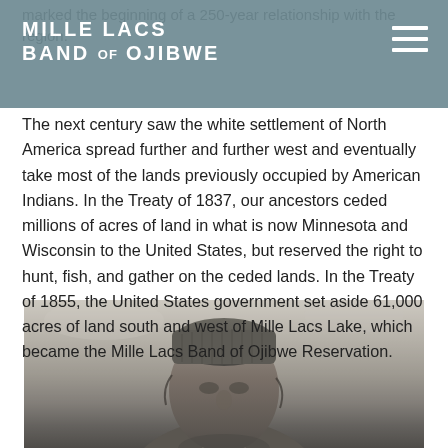Mille Lacs Band of Ojibwe
marked the beginning of a 250-year relationship with the region.
The next century saw the white settlement of North America spread further and further west and eventually take most of the lands previously occupied by American Indians. In the Treaty of 1837, our ancestors ceded millions of acres of land in what is now Minnesota and Wisconsin to the United States, but reserved the right to hunt, fish, and gather on the ceded lands. In the Treaty of 1855, the United States government set aside 61,000 acres of land south and west of Mille Lacs Lake, which became the Mille Lacs Band of Ojibwe Reservation.
[Figure (photo): Black and white historical photograph of a Native American person wearing a knit cap, shown from approximately the shoulders up, facing slightly left.]